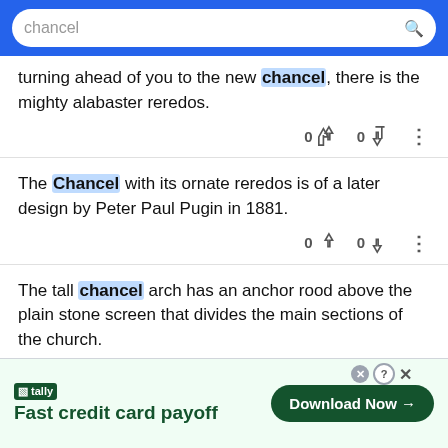chancel
turning ahead of you to the new chancel, there is the mighty alabaster reredos.
The Chancel with its ornate reredos is of a later design by Peter Paul Pugin in 1881.
The tall chancel arch has an anchor rood above the plain stone screen that divides the main sections of the church.
tally Fast credit card payoff — Download Now